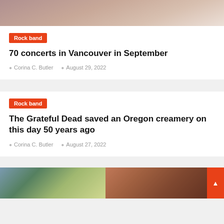[Figure (photo): Top portion of a photo showing people, likely a rock band, cropped at top of page]
Rock band
70 concerts in Vancouver in September
Corina C. Butler   August 29, 2022
Rock band
The Grateful Dead saved an Oregon creamery on this day 50 years ago
Corina C. Butler   August 27, 2022
[Figure (photo): Bottom portion of page showing a partial photo of people outdoors, with an orange scroll button on right edge]